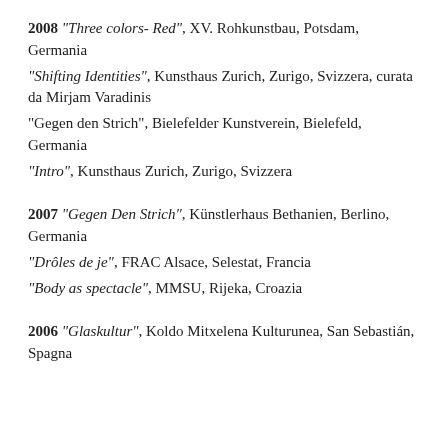2008 "Three colors- Red", XV. Rohkunstbau, Potsdam, Germania
"Shifting Identities", Kunsthaus Zurich, Zurigo, Svizzera, curata da Mirjam Varadinis
"Gegen den Strich", Bielefelder Kunstverein, Bielefeld, Germania
"Intro", Kunsthaus Zurich, Zurigo, Svizzera
2007 "Gegen Den Strich", Künstlerhaus Bethanien, Berlino, Germania
"Drôles de je", FRAC Alsace, Selestat, Francia
"Body as spectacle", MMSU, Rijeka, Croazia
2006 "Glaskultur", Koldo Mitxelena Kulturunea, San Sebastián, Spagna